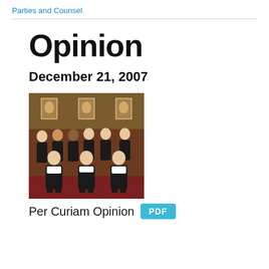Parties and Counsel
Opinion
December 21, 2007
[Figure (photo): Group photograph of court judges in black robes seated and standing in a wood-paneled courtroom with portrait paintings on the wall behind them.]
Per Curiam Opinion  PDF